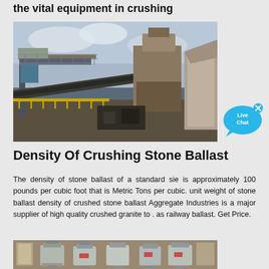the vital equipment in crushing
[Figure (photo): Industrial stone crushing facility with conveyor belts, metal scaffolding, and large crushing machinery under a cloudy sky]
[Figure (infographic): Live Chat button widget with blue speech bubble design and X close button]
Density Of Crushing Stone Ballast
The density of stone ballast of a standard sie is approximately 100 pounds per cubic foot that is Metric Tons per cubic. unit weight of stone ballast density of crushed stone ballast Aggregate Industries is a major supplier of high quality crushed granite to . as railway ballast. Get Price.
[Figure (photo): Industrial metallic crushing/grinding machine tanks inside a warehouse]